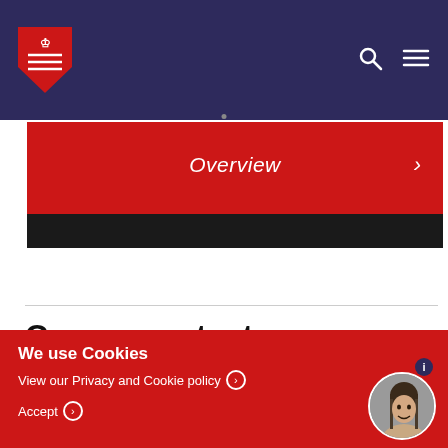University of Essex navigation bar with logo, search, and menu icons
Overview >
Course content
We use Cookies
View our Privacy and Cookie policy
Accept